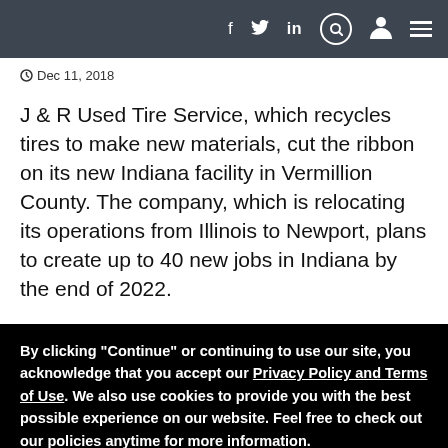f  [twitter]  in  [search]  [user]  [menu]
Dec 11, 2018
J & R Used Tire Service, which recycles tires to make new materials, cut the ribbon on its new Indiana facility in Vermillion County. The company, which is relocating its operations from Illinois to Newport, plans to create up to 40 new jobs in Indiana by the end of 2022.
By clicking "Continue" or continuing to use our site, you acknowledge that you accept our Privacy Policy and Terms of Use. We also use cookies to provide you with the best possible experience on our website. Feel free to check out our policies anytime for more information.